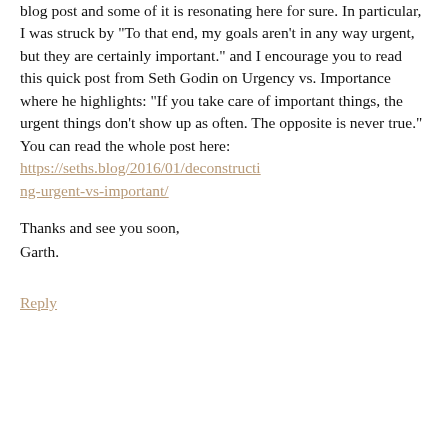blog post and some of it is resonating here for sure. In particular, I was struck by "To that end, my goals aren't in any way urgent, but they are certainly important." and I encourage you to read this quick post from Seth Godin on Urgency vs. Importance where he highlights: "If you take care of important things, the urgent things don't show up as often. The opposite is never true." You can read the whole post here: https://seths.blog/2016/01/deconstructing-urgent-vs-important/
Thanks and see you soon,
Garth.
Reply